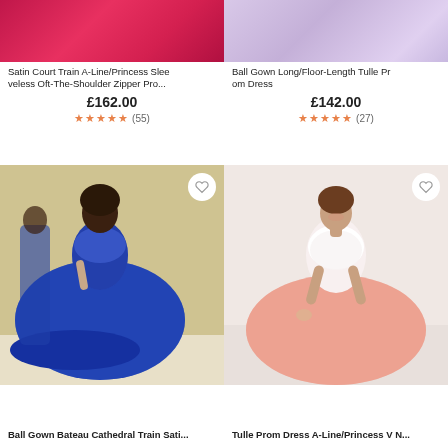[Figure (photo): Red/pink satin fabric close-up photo — top portion of dress product]
Satin Court Train A-Line/Princess Sleeveless Oft-The-Shoulder Zipper Pro...
£162.00
★★★★★ (55)
[Figure (photo): Light purple/lavender tulle fabric close-up — top portion of dress product]
Ball Gown Long/Floor-Length Tulle Prom Dress
£142.00
★★★★★ (27)
[Figure (photo): Royal blue ball gown satin dress with lace appliques worn by model in bridal shop]
[Figure (photo): Pink tulle A-line prom dress with white lace bodice worn by smiling model]
Ball Gown Bateau Cathedral Train Sati...
Tulle Prom Dress A-Line/Princess V N...